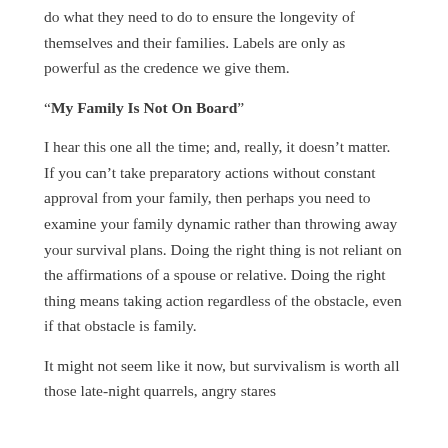do what they need to do to ensure the longevity of themselves and their families. Labels are only as powerful as the credence we give them.
“My Family Is Not On Board”
I hear this one all the time; and, really, it doesn’t matter. If you can’t take preparatory actions without constant approval from your family, then perhaps you need to examine your family dynamic rather than throwing away your survival plans. Doing the right thing is not reliant on the affirmations of a spouse or relative. Doing the right thing means taking action regardless of the obstacle, even if that obstacle is family.
It might not seem like it now, but survivalism is worth all those late-night quarrels, angry stares